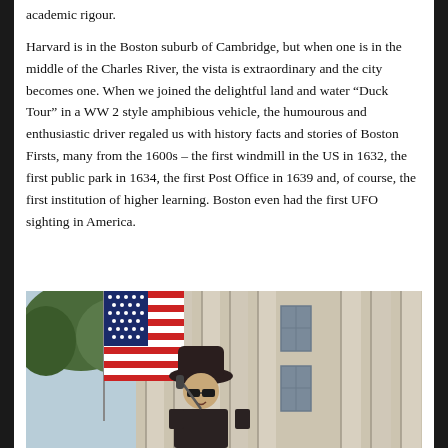academic rigour.
Harvard is in the Boston suburb of Cambridge, but when one is in the middle of the Charles River, the vista is extraordinary and the city becomes one. When we joined the delightful land and water “Duck Tour” in a WW 2 style amphibious vehicle, the humourous and enthusiastic driver regaled us with history facts and stories of Boston Firsts, many from the 1600s – the first windmill in the US in 1632, the first public park in 1634, the first Post Office in 1639 and, of course, the first institution of higher learning. Boston even had the first UFO sighting in America.
[Figure (photo): A photo showing a large American flag hanging in front of a neoclassical stone building with tall columns and multi-pane windows. Green trees are visible on the left. In the foreground, a person wearing a hat and dark clothing is speaking or presenting.]